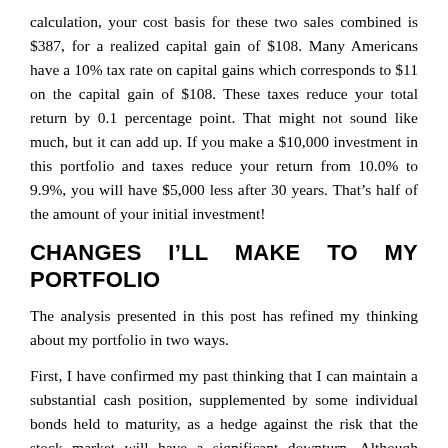calculation, your cost basis for these two sales combined is $387, for a realized capital gain of $108. Many Americans have a 10% tax rate on capital gains which corresponds to $11 on the capital gain of $108. These taxes reduce your total return by 0.1 percentage point. That might not sound like much, but it can add up. If you make a $10,000 investment in this portfolio and taxes reduce your return from 10.0% to 9.9%, you will have $5,000 less after 30 years. That's half of the amount of your initial investment!
CHANGES I'LL MAKE TO MY PORTFOLIO
The analysis presented in this post has refined my thinking about my portfolio in two ways.
First, I have confirmed my past thinking that I can maintain a substantial cash position, supplemented by some individual bonds held to maturity, as a hedge against the risk that the stock market will have a significant downturn. Although holding several years of expenses in cash lowers the return on my total assets, I find it a much easier and less risky strategy than introducing bond funds into my portfolio. That is, although the return on money market